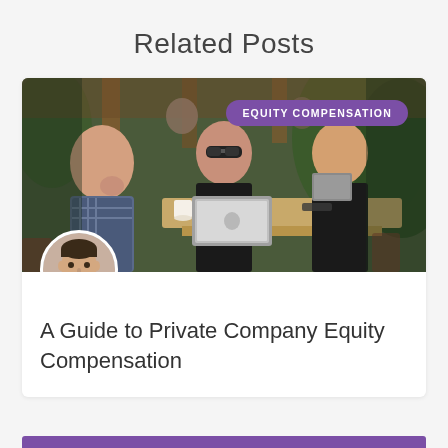Related Posts
[Figure (photo): Three people sitting at a cafe table with a laptop, having a discussion. Two men and one woman wearing sunglasses. EQUITY COMPENSATION badge in top right corner.]
[Figure (photo): Circular avatar portrait of a professional man in a suit.]
A Guide to Private Company Equity Compensation